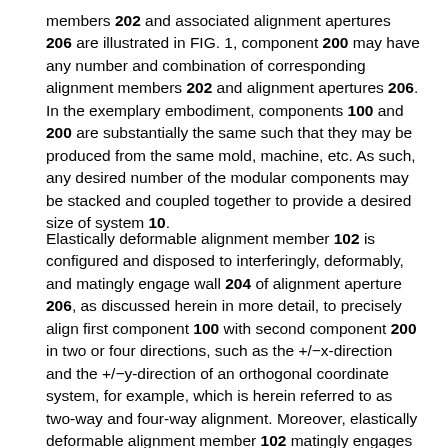members 202 and associated alignment apertures 206 are illustrated in FIG. 1, component 200 may have any number and combination of corresponding alignment members 202 and alignment apertures 206. In the exemplary embodiment, components 100 and 200 are substantially the same such that they may be produced from the same mold, machine, etc. As such, any desired number of the modular components may be stacked and coupled together to provide a desired size of system 10.
Elastically deformable alignment member 102 is configured and disposed to interferingly, deformably, and matingly engage wall 204 of alignment aperture 206, as discussed herein in more detail, to precisely align first component 100 with second component 200 in two or four directions, such as the +/−x-direction and the +/−y-direction of an orthogonal coordinate system, for example, which is herein referred to as two-way and four-way alignment. Moreover, elastically deformable alignment member 102 matingly engages alignment aperture 206 to facilitate a stiff and rigid connection between first component 100 and second component 200, thereby reducing or preventing relative movement therebetween,